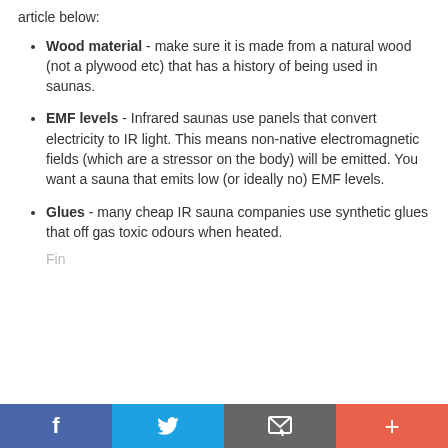article below:
Wood material - make sure it is made from a natural wood (not a plywood etc) that has a history of being used in saunas.
EMF levels - Infrared saunas use panels that convert electricity to IR light. This means non-native electromagnetic fields (which are a stressor on the body) will be emitted. You want a sauna that emits low (or ideally no) EMF levels.
Glues - many cheap IR sauna companies use synthetic glues that off gas toxic odours when heated.
(partial line cut off at bottom)